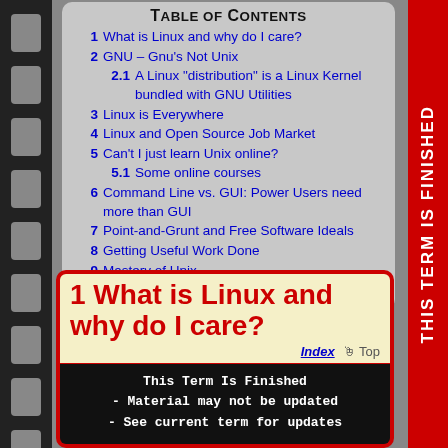Table of Contents
1  What is Linux and why do I care?
2  GNU – Gnu's Not Unix
2.1  A Linux "distribution" is a Linux Kernel bundled with GNU Utilities
3  Linux is Everywhere
4  Linux and Open Source Job Market
5  Can't I just learn Unix online?
5.1  Some online courses
6  Command Line vs. GUI: Power Users need more than GUI
7  Point-and-Grunt and Free Software Ideals
8  Getting Useful Work Done
9  Mastery of Unix
10  In the Beginning was the Command Line
1  What is Linux and why do I care?
This Term Is Finished
- Material may not be updated
- See current term for updates